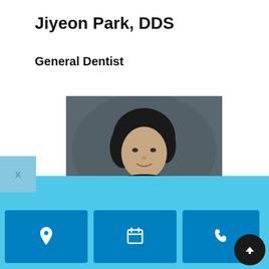Jiyeon Park, DDS
General Dentist
[Figure (photo): Professional headshot of Dr. Jiyeon Park, DDS, an Asian woman with short dark hair wearing a black jacket, smiling, against a dark gray background.]
[Figure (infographic): Bottom navigation bar with three blue buttons containing icons: a location pin, a calendar, and a phone. A scroll-up button (dark circle with upward arrow) is in the bottom right. A light blue bar spans the bottom section. An 'X' tab appears on the left side.]